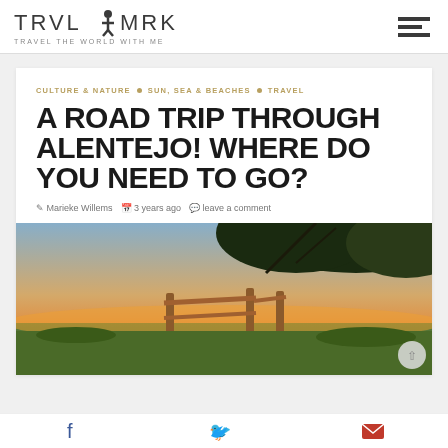TRVL MRK — TRAVEL THE WORLD WITH ME (site header with hamburger menu)
CULTURE & NATURE • SUN, SEA & BEACHES • TRAVEL
A ROAD TRIP THROUGH ALENTEJO! WHERE DO YOU NEED TO GO?
Marieke Willems  3 years ago  leave a comment
[Figure (photo): Outdoor landscape photo at sunset showing a wooden gate/trellis structure in the foreground with a warm golden-orange sky and trees overhead, overlooking a wide green valley.]